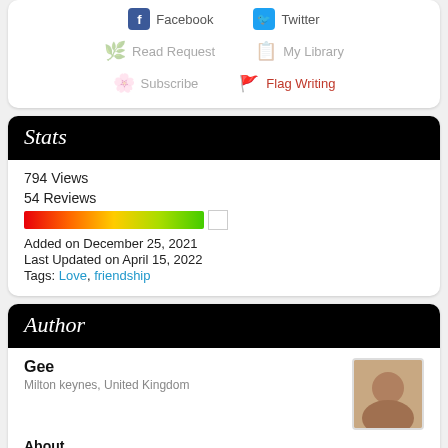Facebook
Twitter
Read Request
My Library
Subscribe
Flag Writing
Stats
794 Views
54 Reviews
Added on December 25, 2021
Last Updated on April 15, 2022
Tags: Love, friendship
Author
Gee
Milton keynes, United Kingdom
About
Devoted family man and lover of life. Simply written, easily understood "stuff" for